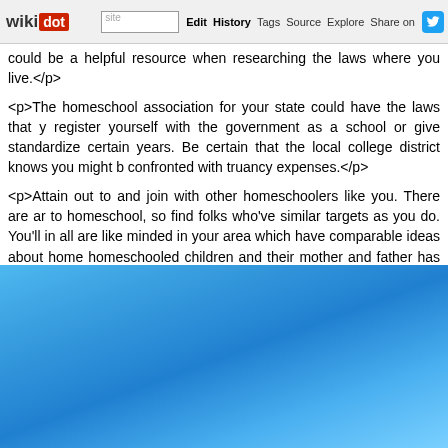wikidot | site | Edit | History | Tags | Source | Explore | Share on
could be a helpful resource when researching the laws where you live.</p>
<p>The homeschool association for your state could have the laws that you register yourself with the government as a school or give standardized certain years. Be certain that the local college district knows you might b confronted with truancy expenses.</p>
<p>Attain out to and join with other homeschoolers like you. There are ar to homeschool, so find folks who've similar targets as you do. You'll in all are like minded in your area which have comparable ideas about home homeschooled children and their mother and father has much to supply ir and other inspiring concepts.</p>
[Figure (photo): Blue gradient background image, transitioning from bright sky blue at top-left to deeper blue in the center and lighter blue at bottom-right.]